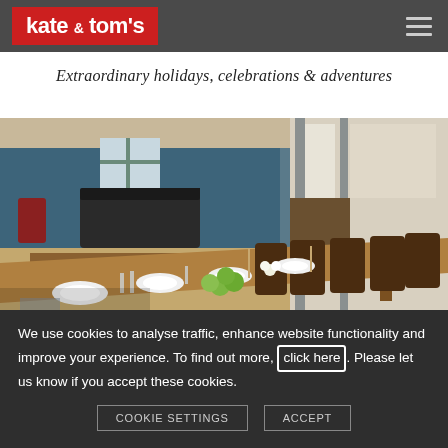kate & tom's
Extraordinary holidays, celebrations & adventures
[Figure (photo): Elegant dining room with a long wooden table set for a formal dinner, white plates, glassware, green apple centerpieces and flowers, dark wooden chairs, blue painted walls, a grand piano in the background, and large glass doors opening to an outdoor area.]
We use cookies to analyse traffic, enhance website functionality and improve your experience. To find out more, click here. Please let us know if you accept these cookies.
COOKIE SETTINGS   ACCEPT